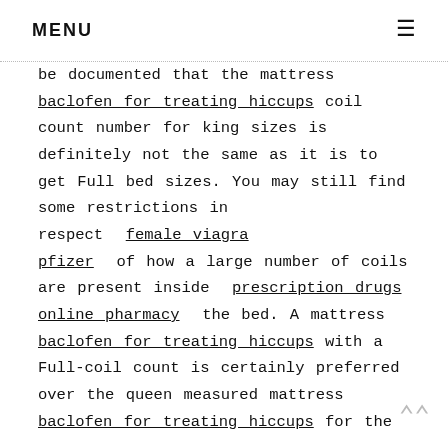MENU ≡
be documented that the mattress baclofen for treating hiccups coil count number for king sizes is definitely not the same as it is to get Full bed sizes. You may still find some restrictions in respect female viagra pfizer of how a large number of coils are present inside prescription drugs online pharmacy the bed. A mattress baclofen for treating hiccups with a Full-coil count is certainly preferred over the queen measured mattress baclofen for treating hiccups for the